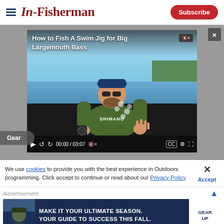In-Fisherman — Subscribe
[Figure (screenshot): Video player showing 'How to Fish A Swim Jig for Big Largemouth Bass' — a man in a Shimano shirt holds a fishing reel outdoors by a lake. Video time: 00:00 / 03:07. Gear category label.]
We use cookies to provide you with the best experience in Outdoors programming. Click accept to continue or read about our Privacy Policy.
Advertisement
[Figure (infographic): Advertisement banner: 'MAKE IT YOUR ULTIMATE SEASON. YOUR GUIDE TO SUCCESS THIS FALL.' with GEAR UP call to action button on dark navy background with camouflage-clad person.]